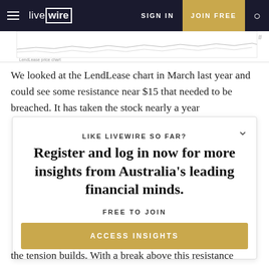livewire | SIGN IN | JOIN FREE
[Figure (continuous-plot): Partial view of a financial line chart, showing a stock price chart (LendLease) with light gray lines on white background. Only the top portion of the chart is visible.]
We looked at the LendLease chart in March last year and could see some resistance near $15 that needed to be breached. It has taken the stock nearly a year
LIKE LIVEWIRE SO FAR?
Register and log in now for more insights from Australia’s leading financial minds.
FREE TO JOIN
ACCESS INSIGHTS
the tension builds. With a break above this resistance